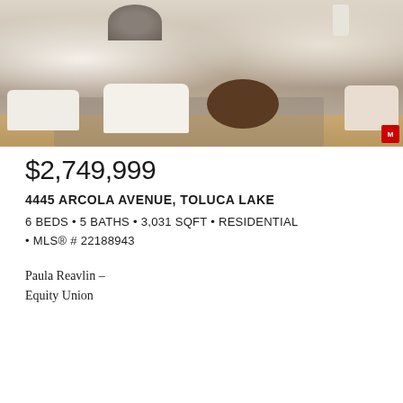[Figure (photo): Interior photo of a modern living room with white sofas, a round dark wood coffee table, hardwood floors, and a fireplace. Bright, airy space with neutral tones.]
$2,749,999
4445 ARCOLA AVENUE, TOLUCA LAKE
6 BEDS • 5 BATHS • 3,031 SQFT • RESIDENTIAL • MLS® # 22188943
Paula Reavlin –
Equity Union